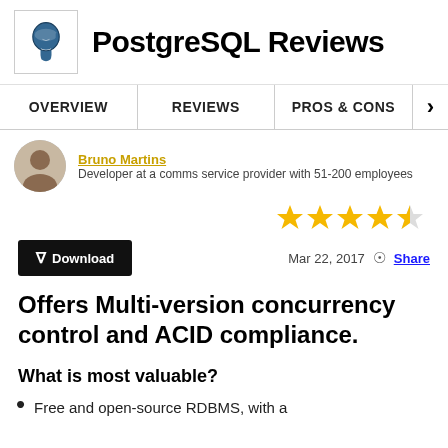PostgreSQL Reviews
OVERVIEW   REVIEWS   PROS & CONS
Bruno Martins
Developer at a comms service provider with 51-200 employees
[Figure (other): 4.5 star rating (4 filled stars, 1 half star)]
Download   Mar 22, 2017   Share
Offers Multi-version concurrency control and ACID compliance.
What is most valuable?
Free and open-source RDBMS, with a